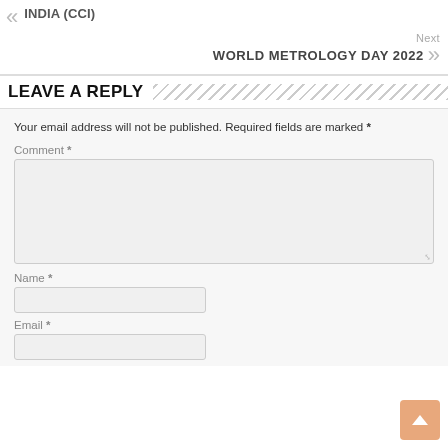INDIA (CCI)
Next WORLD METROLOGY DAY 2022
LEAVE A REPLY
Your email address will not be published. Required fields are marked *
Comment *
Name *
Email *